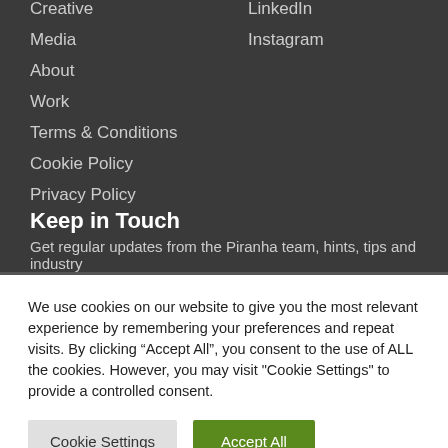Creative
Media
About
Work
Terms & Conditions
Cookie Policy
Privacy Policy
LinkedIn
Instagram
Keep in Touch
Get regular updates from the Piranha team, hints, tips and industry
We use cookies on our website to give you the most relevant experience by remembering your preferences and repeat visits. By clicking “Accept All”, you consent to the use of ALL the cookies. However, you may visit "Cookie Settings" to provide a controlled consent.
Cookie Settings
Accept All